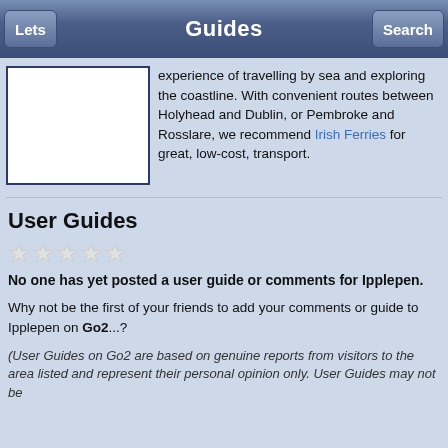Guides
[Figure (photo): White rectangle placeholder image with navy border]
experience of travelling by sea and exploring the coastline. With convenient routes between Holyhead and Dublin, or Pembroke and Rosslare, we recommend Irish Ferries for great, low-cost, transport.
User Guides
[Figure (other): Five empty star rating icons]
No one has yet posted a user guide or comments for Ipplepen.
Why not be the first of your friends to add your comments or guide to Ipplepen on Go2...?
(User Guides on Go2 are based on genuine reports from visitors to the area listed and represent their personal opinion only. User Guides may not be